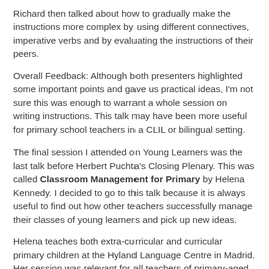Richard then talked about how to gradually make the instructions more complex by using different connectives, imperative verbs and by evaluating the instructions of their peers.
Overall Feedback: Although both presenters highlighted some important points and gave us practical ideas, I'm not sure this was enough to warrant a whole session on writing instructions. This talk may have been more useful for primary school teachers in a CLIL or bilingual setting.
The final session I attended on Young Learners was the last talk before Herbert Puchta's Closing Plenary. This was called Classroom Management for Primary by Helena Kennedy. I decided to go to this talk because it is always useful to find out how other teachers successfully manage their classes of young learners and pick up new ideas.
Helena teaches both extra-curricular and curricular primary children at the Hyland Language Centre in Madrid. Her session was relevant for all teachers of primary-aged learners. The talk focussed on how to maintain control in the